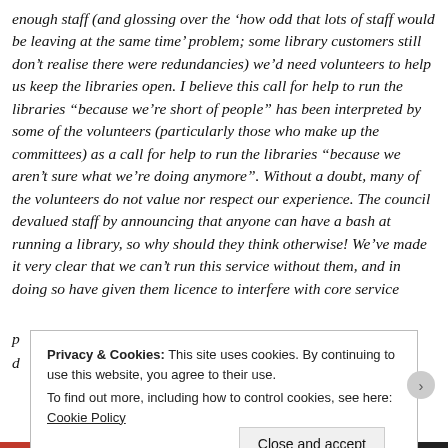enough staff (and glossing over the ‘how odd that lots of staff would be leaving at the same time’ problem; some library customers still don’t realise there were redundancies) we’d need volunteers to help us keep the libraries open. I believe this call for help to run the libraries “because we’re short of people” has been interpreted by some of the volunteers (particularly those who make up the committees) as a call for help to run the libraries “because we aren’t sure what we’re doing anymore”. Without a doubt, many of the volunteers do not value nor respect our experience. The council devalued staff by announcing that anyone can have a bash at running a library, so why should they think otherwise! We’ve made it very clear that we can’t run this service without them, and in doing so have given them licence to interfere with core service
Privacy & Cookies: This site uses cookies. By continuing to use this website, you agree to their use.
To find out more, including how to control cookies, see here: Cookie Policy